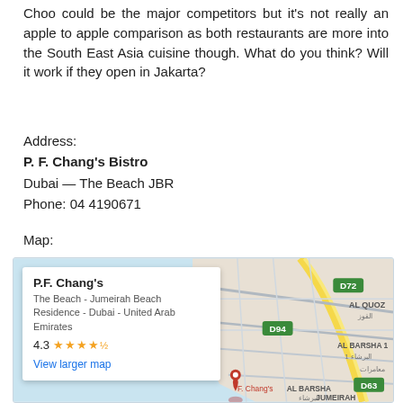Choo could be the major competitors but it's not really an apple to apple comparison as both restaurants are more into the South East Asia cuisine though. What do you think? Will it work if they open in Jakarta?
Address:
P. F. Chang's Bistro
Dubai — The Beach JBR
Phone: 04 4190671
Map:
[Figure (map): Google Map showing P.F. Chang's location at The Beach, Jumeirah Beach Residence, Dubai, United Arab Emirates. Rating 4.3 stars. Map shows surrounding areas including Al Quoz, Al Barsha 1, Al Barsha, Jumeirah. Road labels D72, D94, D63 visible.]